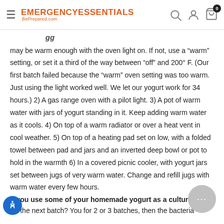Emergency Essentials BePrepared.com
may be warm enough with the oven light on. If not, use a “warm” setting, or set it a third of the way between “off” and 200° F. (Our first batch failed because the “warm” oven setting was too warm. Just using the light worked well. We let our yogurt work for 34 hours.) 2) A gas range oven with a pilot light. 3) A pot of warm water with jars of yogurt standing in it. Keep adding warm water as it cools. 4) On top of a warm radiator or over a heat vent in cool weather. 5) On top of a heating pad set on low, with a folded towel between pad and jars and an inverted deep bowl or pot to hold in the warmth 6) In a covered picnic cooler, with yogurt jars set between jugs of very warm water. Change and refill jugs with warm water every few hours.
n you use some of your homemade yogurt as a culture for the next batch? Yes, for 2 or 3 batches, then the bacteria seems to weaken.